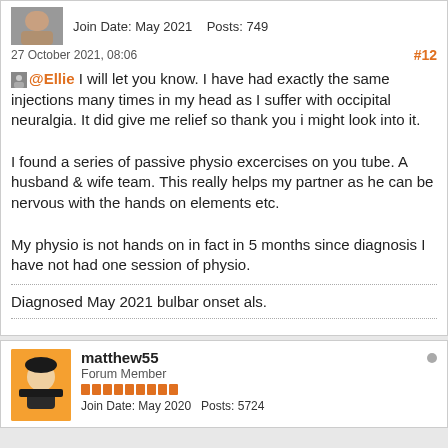Join Date: May 2021   Posts: 749
27 October 2021, 08:06
#12
@Ellie I will let you know. I have had exactly the same injections many times in my head as I suffer with occipital neuralgia. It did give me relief so thank you i might look into it.

I found a series of passive physio excercises on you tube. A husband & wife team. This really helps my partner as he can be nervous with the hands on elements etc.

My physio is not hands on in fact in 5 months since diagnosis I have not had one session of physio.
Diagnosed May 2021 bulbar onset als.
matthew55
Forum Member
Join Date: May 2020   Posts: 5724